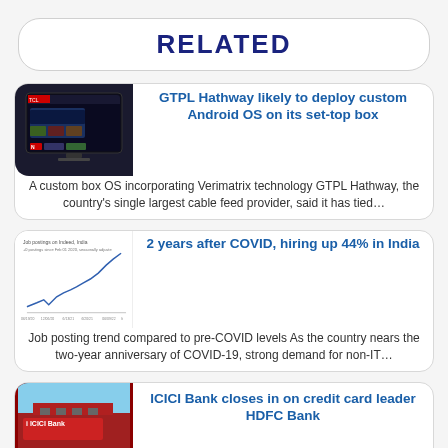RELATED
GTPL Hathway likely to deploy custom Android OS on its set-top box
A custom box OS incorporating Verimatrix technology GTPL Hathway, the country's single largest cable feed provider, said it has tied…
2 years after COVID, hiring up 44% in India
Job posting trend compared to pre-COVID levels As the country nears the two-year anniversary of COVID-19, strong demand for non-IT…
ICICI Bank closes in on credit card leader HDFC Bank